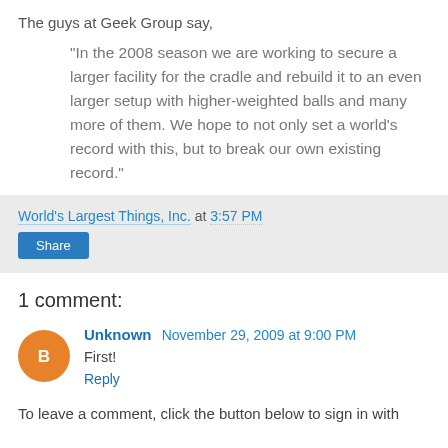The guys at Geek Group say,
"In the 2008 season we are working to secure a larger facility for the cradle and rebuild it to an even larger setup with higher-weighted balls and many more of them. We hope to not only set a world's record with this, but to break our own existing record."
World's Largest Things, Inc. at 3:57 PM
Share
1 comment:
Unknown November 29, 2009 at 9:00 PM
First!
Reply
To leave a comment, click the button below to sign in with